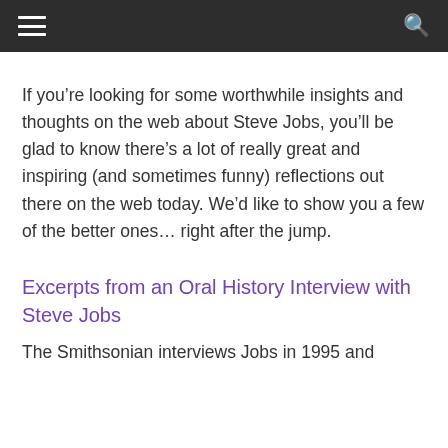≡  🔍
If you're looking for some worthwhile insights and thoughts on the web about Steve Jobs, you'll be glad to know there's a lot of really great and inspiring (and sometimes funny) reflections out there on the web today. We'd like to show you a few of the better ones… right after the jump.
Excerpts from an Oral History Interview with Steve Jobs
The Smithsonian interviews Jobs in 1995 and